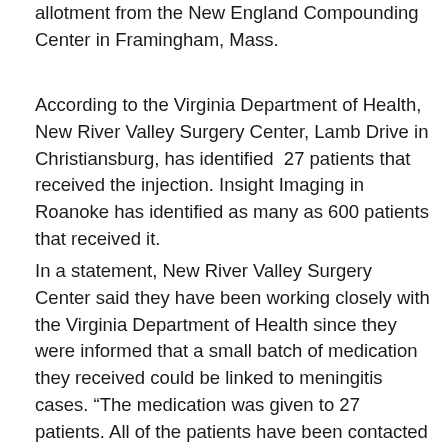allotment from the New England Compounding Center in Framingham, Mass.
According to the Virginia Department of Health, New River Valley Surgery Center, Lamb Drive in Christiansburg, has identified 27 patients that received the injection. Insight Imaging in Roanoke has identified as many as 600 patients that received it.
In a statement, New River Valley Surgery Center said they have been working closely with the Virginia Department of Health since they were informed that a small batch of medication they received could be linked to meningitis cases. “The medication was given to 27 patients. All of the patients have been contacted and are receiving treatment if necessary. Out of respect for their privacy, we cannot provide any additional patient information. We are no longer using any products from the pharmacy that produced the medication in question. The health and